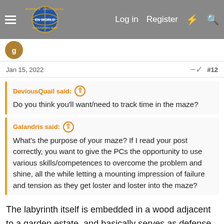Morrus' Unofficial Tabletop RPG News — Log in  Register
Jan 15, 2022  #12
DeviousQuail said: Do you think you'll want/need to track time in the maze?
Galandris said: What's the purpose of your maze? If I read your post correctly, you want to give the PCs the opportunity to use various skills/competences to overcome the problem and shine, all the while letting a mounting impression of failure and tension as they get loster and loster into the maze?
The labyrinth itself is embedded in a wood adjacent to a garden estate, and basically serves as defense for a corrupted fey living at its center: the maze wards away casual wanderers and consumes incautious explorers